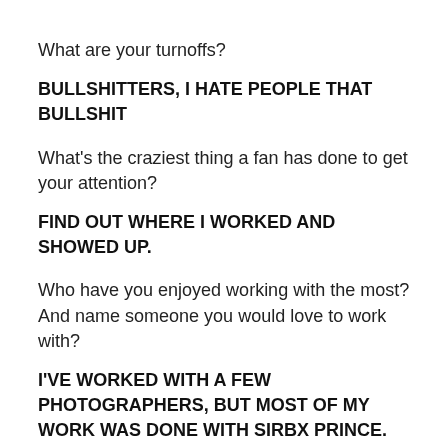What are your turnoffs?
BULLSHITTERS, I HATE PEOPLE THAT BULLSHIT
What's the craziest thing a fan has done to get your attention?
FIND OUT WHERE I WORKED AND SHOWED UP.
Who have you enjoyed working with the most? And name someone you would love to work with?
I'VE WORKED WITH A FEW PHOTOGRAPHERS, BUT MOST OF MY WORK WAS DONE WITH SIRBX PRINCE. PAUL OF BLUE BOX PHOTOGRAPHY, THAT MAN REALLY THINKS OUTSIDE THE BOX.
The most sensual shoot you've ever done and what made